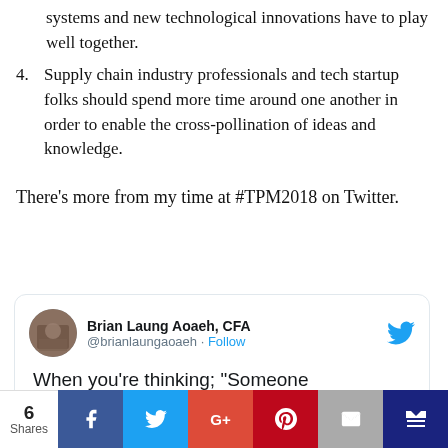systems and new technological innovations have to play well together.
4. Supply chain industry professionals and tech startup folks should spend more time around one another in order to enable the cross-pollination of ideas and knowledge.
There’s more from my time at #TPM2018 on Twitter.
[Figure (screenshot): Tweet card from Brian Laung Aoaeh, CFA (@brianlaungaoaeh) with Follow button and Twitter bird icon. Tweet text begins: When you’re thinking; “Someone]
6 Shares | Facebook | Twitter | G+ | Pinterest | Email | Other